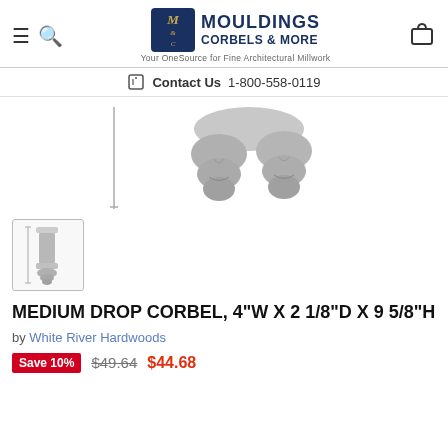MOULDINGS CORBELS & MORE — Your OneSource for Fine Architectural Millwork
Contact Us  1-800-558-0119
[Figure (photo): Close-up bottom view of a decorative drop corbel showing carved detail, gray finish, on white background]
[Figure (photo): Thumbnail image of medium drop corbel with dimension lines, full view, gray finish]
MEDIUM DROP CORBEL, 4"W X 2 1/8"D X 9 5/8"H
by White River Hardwoods
Save 10%  $49.64  $44.68